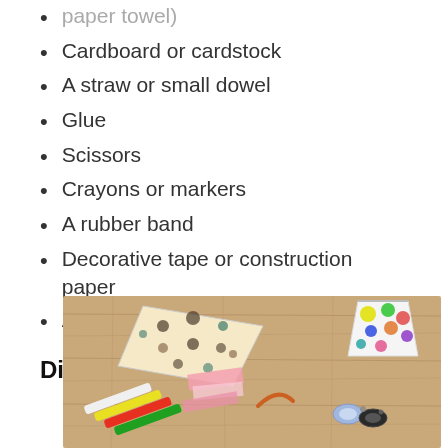paper towel)
Cardboard or cardstock
A straw or small dowel
Glue
Scissors
Crayons or markers
A rubber band
Decorative tape or construction paper
A pipe cleaner
Directions:
[Figure (photo): Craft supplies laid out on a wooden table top: a polka-dot patterned paper bird shape, crayons, pink tissue paper, washi tape rolls, and a decorated paper cup.]